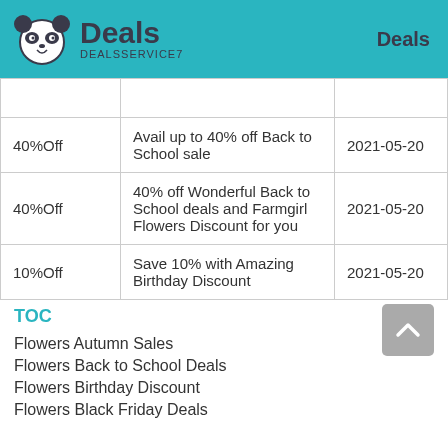Deals DEALSSERVICE7 | Deals
|  |  |  |
| --- | --- | --- |
| 40%Off | Avail up to 40% off Back to School sale | 2021-05-20 |
| 40%Off | 40% off Wonderful Back to School deals and Farmgirl Flowers Discount for you | 2021-05-20 |
| 10%Off | Save 10% with Amazing Birthday Discount | 2021-05-20 |
TOC
Flowers Autumn Sales
Flowers Back to School Deals
Flowers Birthday Discount
Flowers Black Friday Deals